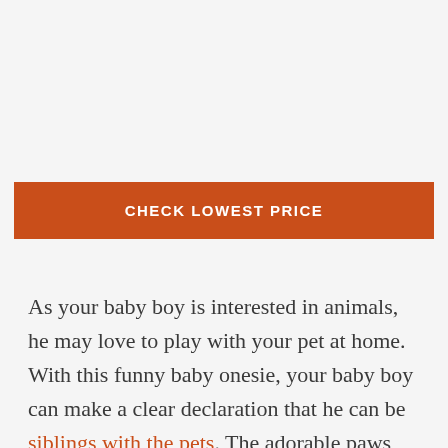[Figure (other): Orange 'CHECK LOWEST PRICE' button]
As your baby boy is interested in animals, he may love to play with your pet at home. With this funny baby onesie, your baby boy can make a clear declaration that he can be siblings with the pets. The adorable paws and bone image along with the funny text will definitely add the cuteness of your baby boy.